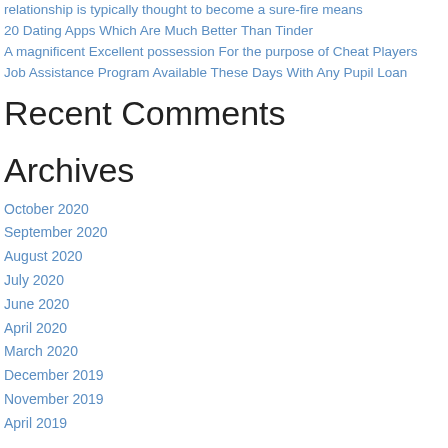relationship is typically thought to become a sure-fire means
20 Dating Apps Which Are Much Better Than Tinder
A magnificent Excellent possession For the purpose of Cheat Players
Job Assistance Program Available These Days With Any Pupil Loan
Recent Comments
Archives
October 2020
September 2020
August 2020
July 2020
June 2020
April 2020
March 2020
December 2019
November 2019
April 2019
Categories